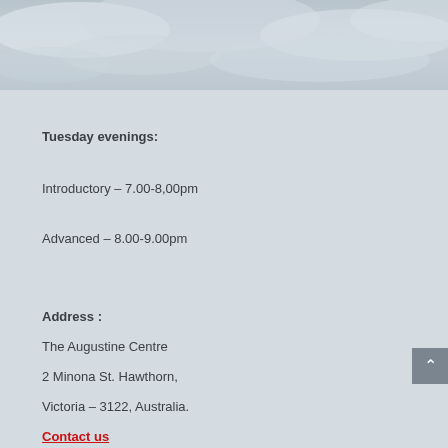[Figure (photo): Cloudy sky background image, grey and white clouds]
Tuesday evenings:
Introductory – 7.00-8,00pm
Advanced – 8.00-9.00pm
Address :
The Augustine Centre
2 Minona St. Hawthorn,
Victoria – 3122, Australia.
Contact us